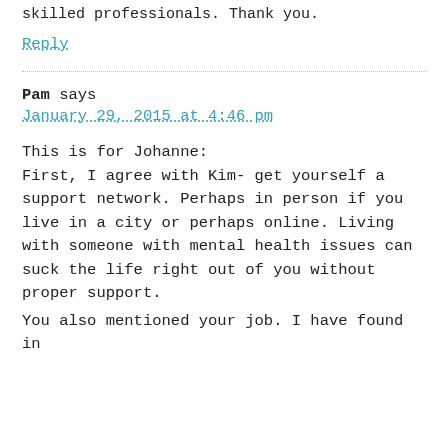skilled professionals. Thank you.
Reply
Pam says
January 29, 2015 at 4:46 pm
This is for Johanne:
First, I agree with Kim- get yourself a support network. Perhaps in person if you live in a city or perhaps online. Living with someone with mental health issues can suck the life right out of you without proper support.
You also mentioned your job. I have found in